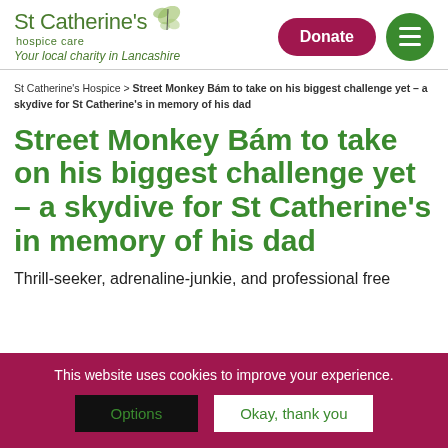[Figure (logo): St Catherine's hospice care logo with green butterfly and text, tagline: Your local charity in Lancashire]
St Catherine's Hospice > Street Monkey Bám to take on his biggest challenge yet – a skydive for St Catherine's in memory of his dad
Street Monkey Bám to take on his biggest challenge yet – a skydive for St Catherine's in memory of his dad
Thrill-seeker, adrenaline-junkie, and professional free
This website uses cookies to improve your experience.
Options
Okay, thank you